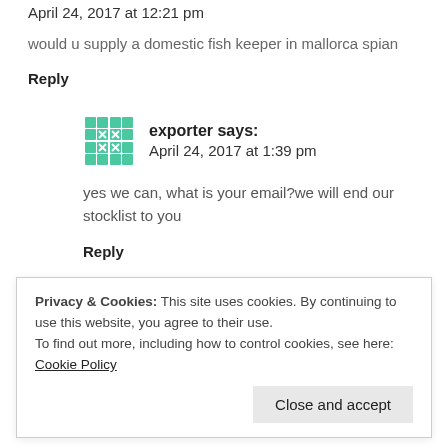April 24, 2017 at 12:21 pm
would u supply a domestic fish keeper in mallorca spian
Reply
exporter says:
April 24, 2017 at 1:39 pm
yes we can, what is your email?we will end our stocklist to you
Reply
Privacy & Cookies: This site uses cookies. By continuing to use this website, you agree to their use.
To find out more, including how to control cookies, see here: Cookie Policy
Close and accept